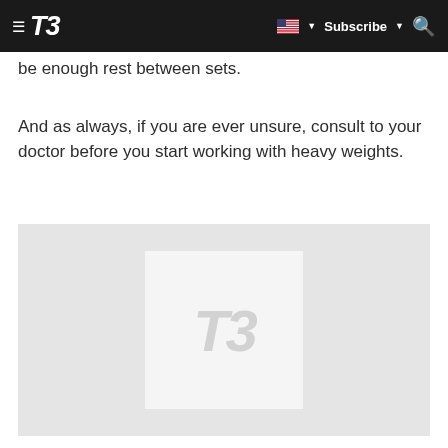T3 — Subscribe
be enough rest between sets.
And as always, if you are ever unsure, consult to your doctor before you start working with heavy weights.
[Figure (logo): T3 magazine placeholder image with T3 logo watermark on light grey background]